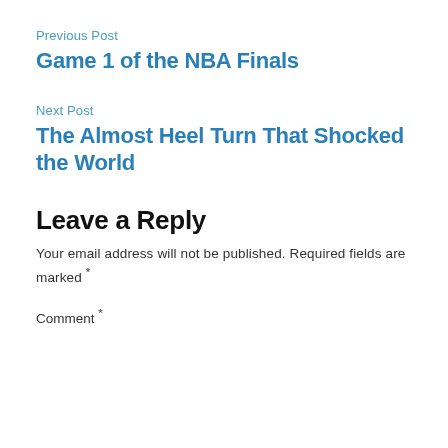Previous Post
Game 1 of the NBA Finals
Next Post
The Almost Heel Turn That Shocked the World
Leave a Reply
Your email address will not be published. Required fields are marked *
Comment *